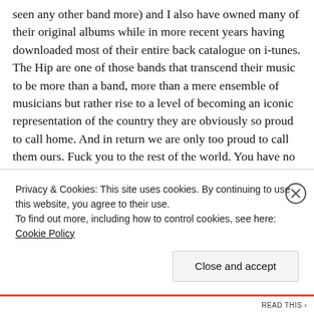seen any other band more) and I also have owned many of their original albums while in more recent years having downloaded most of their entire back catalogue on i-tunes. The Hip are one of those bands that transcend their music to be more than a band, more than a mere ensemble of musicians but rather rise to a level of becoming an iconic representation of the country they are obviously so proud to call home. And in return we are only too proud to call them ours. Fuck you to the rest of the world. You have no idea what you're missing out on. (In true Canadian fashion, I apologize if my last statement offends anyone. But I hope you get my point).

Gord's lyrics along with the bands grass roots, blue collar
Privacy & Cookies: This site uses cookies. By continuing to use this website, you agree to their use.
To find out more, including how to control cookies, see here: Cookie Policy
Close and accept